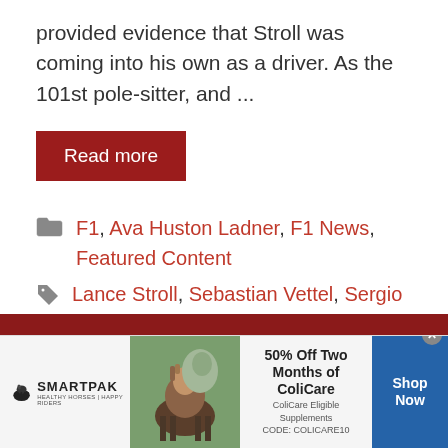provided evidence that Stroll was coming into his own as a driver. As the 101st pole-sitter, and ...
Read more
F1, Ava Huston Ladner, F1 News, Featured Content
Lance Stroll, Sebastian Vettel, Sergio Perez
[Figure (infographic): SmartPak advertisement banner: SmartPak logo with horse icon on left, product image in center-left, text '50% Off Two Months of ColiCare, ColiCare Eligible Supplements, CODE: COLICARE10' in center, blue 'Shop Now' button on right, with close X button.]